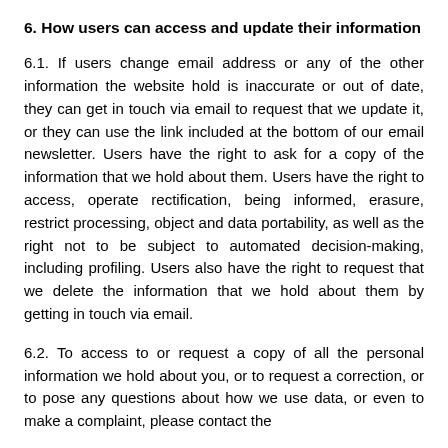6. How users can access and update their information
6.1. If users change email address or any of the other information the website hold is inaccurate or out of date, they can get in touch via email to request that we update it, or they can use the link included at the bottom of our email newsletter. Users have the right to ask for a copy of the information that we hold about them. Users have the right to access, operate rectification, being informed, erasure, restrict processing, object and data portability, as well as the right not to be subject to automated decision-making, including profiling. Users also have the right to request that we delete the information that we hold about them by getting in touch via email.
6.2. To access to or request a copy of all the personal information we hold about you, or to request a correction, or to pose any questions about how we use data, or even to make a complaint, please contact the